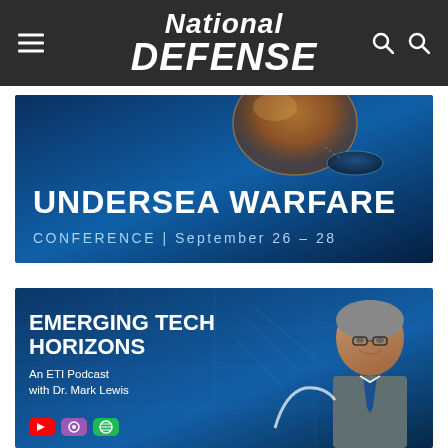National Defense
[Figure (illustration): Undersea Warfare Conference banner with underwater/ocean themed background, showing submarine or undersea vehicle imagery. Text: UNDERSEA WARFARE CONFERENCE | September 26 – 28]
[Figure (illustration): Emerging Tech Horizons podcast banner with Dr. Mark Lewis. Text: EMERGING TECH HORIZONS - An ETI Podcast with Dr. Mark Lewis. Podcast platform icons (YouTube, Apple Podcasts, Spotify) at bottom left.]